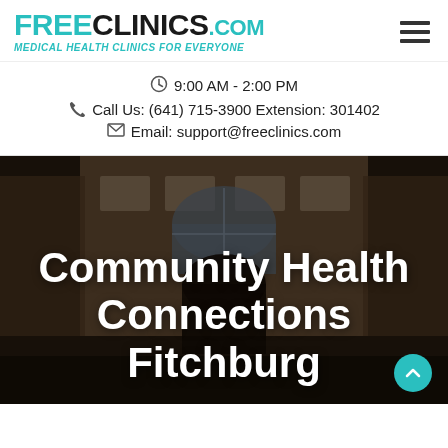[Figure (logo): FreeClinics.com logo with tagline 'Medical Health Clinics For Everyone']
9:00 AM - 2:00 PM
Call Us: (641) 715-3900 Extension: 301402
Email: support@freeclinics.com
[Figure (photo): Building exterior photo showing a brick building with an arched window entrance, serving as hero background]
Community Health Connections Fitchburg